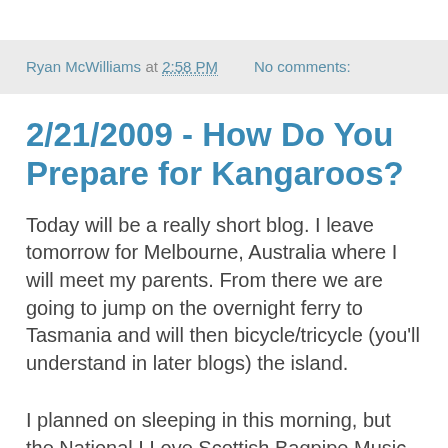Ryan McWilliams at 2:58 PM   No comments:
2/21/2009 - How Do You Prepare for Kangaroos?
Today will be a really short blog. I leave tomorrow for Melbourne, Australia where I will meet my parents. From there we are going to jump on the overnight ferry to Tasmania and will then bicycle/tricycle (you'll understand in later blogs) the island.
I planned on sleeping in this morning, but the National I Love Scottish Bagpipe Music Festival decided to start tromping around right underneath my window at about 8:00AM. Every time a marching band seemed to move off into the distance, allowing me to drowse a bit, a new one would start with